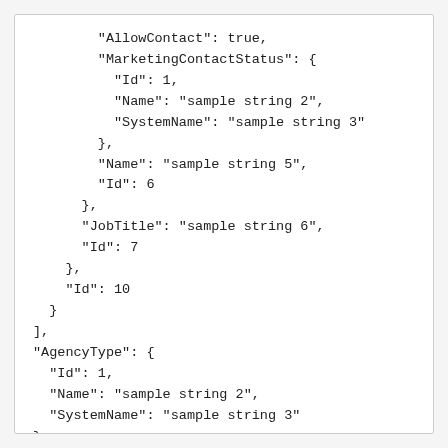"AllowContact": true,
"MarketingContactStatus": {
  "Id": 1,
  "Name": "sample string 2",
  "SystemName": "sample string 3"
},
"Name": "sample string 5",
"Id": 6
},
"JobTitle": "sample string 6",
"Id": 7
},
"Id": 10
}
],
"AgencyType": {
  "Id": 1,
  "Name": "sample string 2",
  "SystemName": "sample string 3"
},
"AgencyPeriod": {
  "Id": 1,
  "Name": "sample string 2"